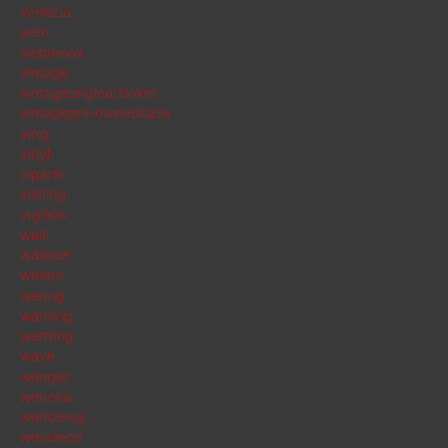venezia
vero
victorinox
vintage
vintageoriginal'boker
vintagepre-ownedcase
virtg
vinyl
viparte
visiting
vtg'80s
wail
wailace
wainut
waring
warning
warthog
wave
wenger
wenoka
werkzeug
wessleco
west
westmoreland
white
whiteknuckler
wife